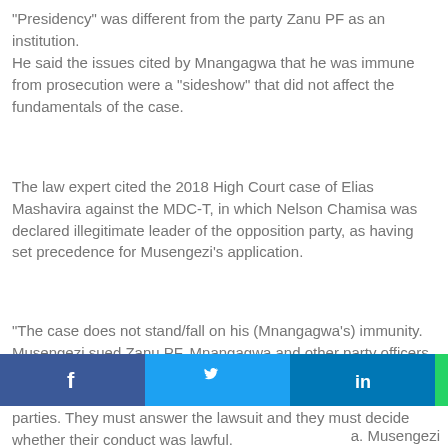“Presidency” was different from the party Zanu PF as an institution.
He said the issues cited by Mnangagwa that he was immune from prosecution were a "sideshow" that did not affect the fundamentals of the case.
The law expert cited the 2018 High Court case of Elias Mashavira against the MDC-T, in which Nelson Chamisa was declared illegitimate leader of the opposition party, as having set precedence for Musengezi’s application.
“The case does not stand/fall on his (Mnangagwa’s) immunity. Musengezi sued Zanu PF, Mnangagwa and other party officers. Let’s assume for a moment that Mnangagwa’s immunity defence is valid, it doesn’t apply to Zanu PF and the other parties. They must answer the lawsuit and they must decide whether their conduct was lawful.
[Figure (infographic): Social media share buttons: Facebook (blue), Twitter (light blue), LinkedIn (dark blue), WhatsApp (green), SMS (green), More (grey)]
a. Musengezi